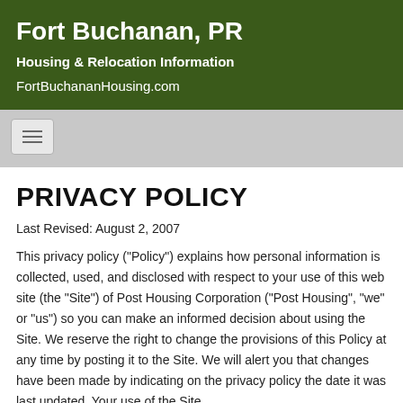Fort Buchanan, PR
Housing & Relocation Information
FortBuchananHousing.com
PRIVACY POLICY
Last Revised: August 2, 2007
This privacy policy ("Policy") explains how personal information is collected, used, and disclosed with respect to your use of this web site (the "Site") of Post Housing Corporation ("Post Housing", "we" or "us") so you can make an informed decision about using the Site. We reserve the right to change the provisions of this Policy at any time by posting it to the Site. We will alert you that changes have been made by indicating on the privacy policy the date it was last updated. Your use of the Site following our posting of any revision to this policy constitutes your acceptance of any such revised policy.